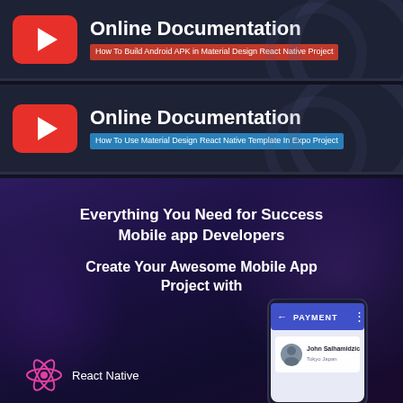[Figure (screenshot): YouTube-style online documentation banner with red play button icon, title 'Online Documentation', subtitle 'How To Build Android APK in Material Design React Native Project' on red background]
[Figure (screenshot): YouTube-style online documentation banner with red play button icon, title 'Online Documentation', subtitle 'How To Use Material Design React Native Template In Expo Project' on blue background]
[Figure (infographic): Dark purple promotional section for React Native mobile app template. Text: 'Everything You Need for Success Mobile app Developers' and 'Create Your Awesome Mobile App Project with'. Shows React Native logo with label and a phone mockup displaying a Payment screen with 'John Salhamidzic, Tokyo Japan'.]